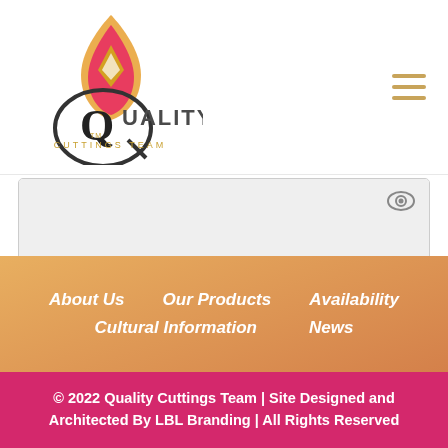[Figure (logo): Quality Cuttings Team logo with flame/leaf icon and circular Q lettermark]
[Figure (other): Hamburger menu icon (three horizontal lines) in gold/tan color]
[Figure (other): Password input field (gray background) with eye icon for show/hide password]
Log in
Remember me
Lost your password?
About Us   Our Products   Availability   Cultural Information   News
© 2022 Quality Cuttings Team | Site Designed and Architected By LBL Branding | All Rights Reserved